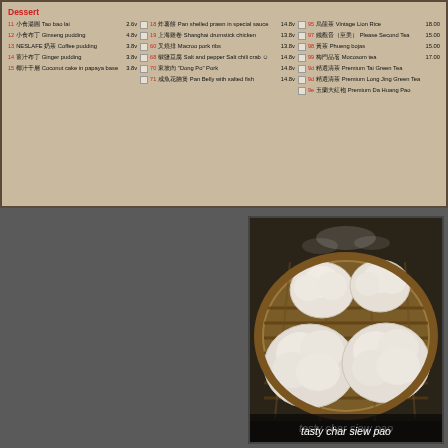[Figure (photo): Restaurant dim sum menu showing dessert items and drink items in three columns with checkboxes, prices, and Chinese characters alongside English descriptions]
[Figure (photo): Photo of steamed char siew pao (BBQ pork buns) in a bamboo steamer basket, four white fluffy buns visible]
tasty char siew pao